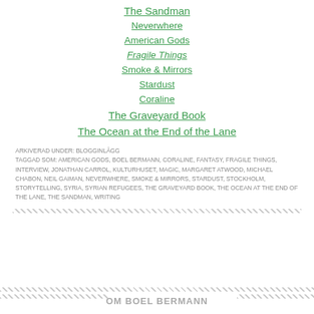The Sandman
Neverwhere
American Gods
Fragile Things
Smoke & Mirrors
Stardust
Coraline
The Graveyard Book
The Ocean at the End of the Lane
ARKIVERAD UNDER: BLOGGINLÄGG
TAGGAD SOM: AMERICAN GODS, BOEL BERMANN, CORALINE, FANTASY, FRAGILE THINGS, INTERVIEW, JONATHAN CARROL, KULTURHUSET, MAGIC, MARGARET ATWOOD, MICHAEL CHABON, NEIL GAIMAN, NEVERWHERE, SMOKE & MIRRORS, STARDUST, STOCKHOLM, STORYTELLING, SYRIA, SYRIAN REFUGEES, THE GRAVEYARD BOOK, THE OCEAN AT THE END OF THE LANE, THE SANDMAN, WRITING
OM BOEL BERMANN